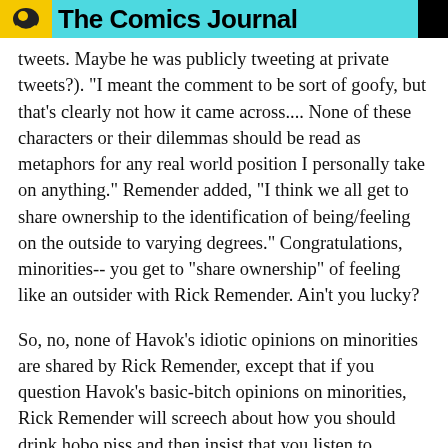The Comics Journal
tweets. Maybe he was publicly tweeting at private tweets?). "I meant the comment to be sort of goofy, but that's clearly not how it came across.... None of these characters or their dilemmas should be read as metaphors for any real world position I personally take on anything." Remender added, "I think we all get to share ownership to the identification of being/feeling on the outside to varying degrees." Congratulations, minorities-- you get to "share ownership" of feeling like an outsider with Rick Remender. Ain't you lucky?
So, no, none of Havok's idiotic opinions on minorities are shared by Rick Remender, except that if you question Havok's basic-bitch opinions on minorities, Rick Remender will screech about how you should drink hobo piss and then insist that you listen to